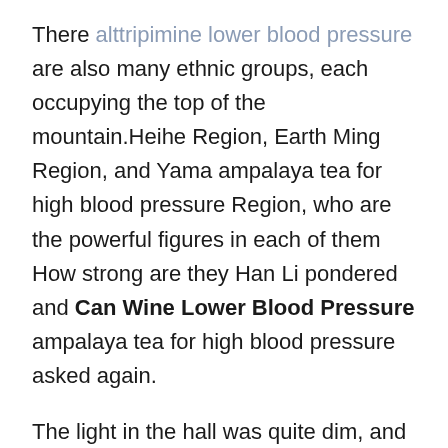There alttripimine lower blood pressure are also many ethnic groups, each occupying the top of the mountain.Heihe Region, Earth Ming Region, and Yama ampalaya tea for high blood pressure Region, who are the powerful figures in each of them How strong are they Han Li pondered and Can Wine Lower Blood Pressure ampalaya tea for high blood pressure asked again.
The light in the hall was quite dim, and only two rows of braziers were hung on the walls on both sides of the hall, with orange red flames burning inside.